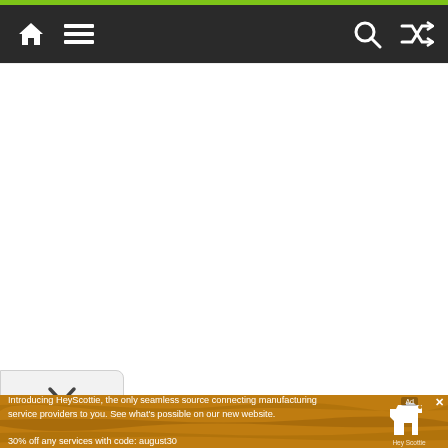Navigation bar with home icon, menu icon, search icon, and shuffle icon
[Figure (screenshot): White blank content area below navigation bar]
[Figure (other): Chevron down button at left side]
Introducing HeyScottie, the only seamless source connecting manufacturing service providers to you. See what's possible on our new website.
30% off any services with code: august30